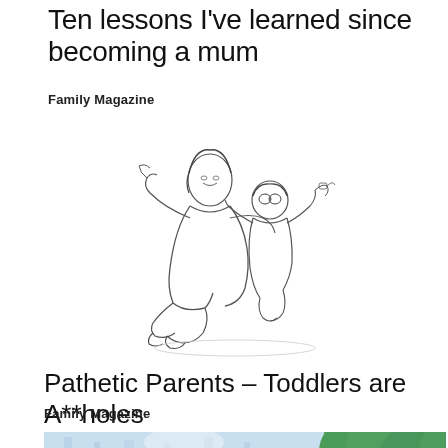Ten lessons I've learned since becoming a mum
Family Magazine
[Figure (illustration): Pencil sketch illustration of a mother crouching and hugging a small child/toddler, drawn in black and white pencil style]
Pathetic Parents – Toddlers are A**holes
Family Magazine
[Figure (photo): Partial photo showing an outdoor scene with green trees and light background, cropped at bottom of page]